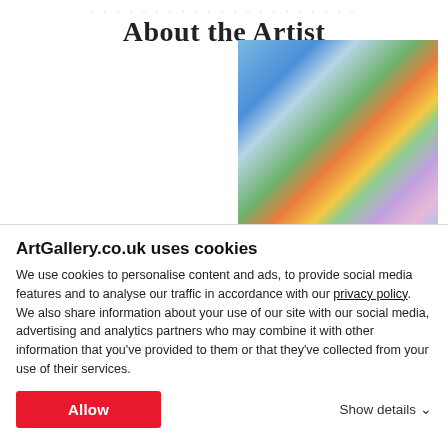About the Artist
[Figure (photo): An artist in his studio holding up colorful paintings, with more artwork visible in the background.]
I opened my studio in Derbyshire 5 years ago following a successful career in design within the fashion
ArtGallery.co.uk uses cookies
We use cookies to personalise content and ads, to provide social media features and to analyse our traffic in accordance with our privacy policy. We also share information about your use of our site with our social media, advertising and analytics partners who may combine it with other information that you've provided to them or that they've collected from your use of their services.
Allow
Show details